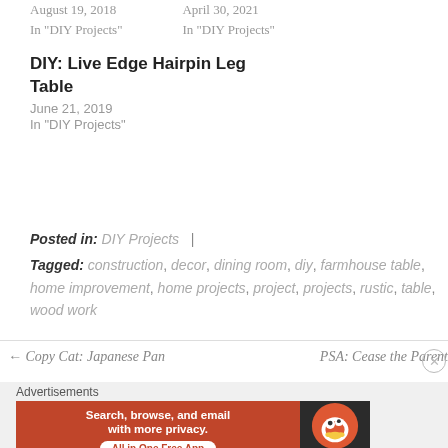August 19, 2018
In "DIY Projects"
April 30, 2021
In "DIY Projects"
DIY: Live Edge Hairpin Leg Table
June 21, 2019
In "DIY Projects"
Posted in: DIY Projects |
Tagged: construction, decor, dining room, diy, farmhouse table, home improvement, home projects, project, projects, rustic, table, wood work
← Copy Cat: Japanese Pan
PSA: Cease the Parent
Advertisements
[Figure (infographic): DuckDuckGo advertisement banner: orange left section with text 'Search, browse, and email with more privacy. All in One Free App', dark right section with DuckDuckGo duck logo]